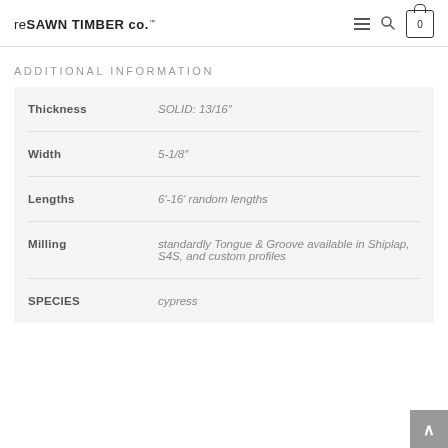reSAWN TIMBER co.
ADDITIONAL INFORMATION
|  |  |
| --- | --- |
| Thickness | SOLID: 13/16″ |
| Width | 5-1/8" |
| Lengths | 6'-16' random lengths |
| Milling | standardly Tongue & Groove available in Shiplap, S4S, and custom profiles |
| SPECIES | cypress |